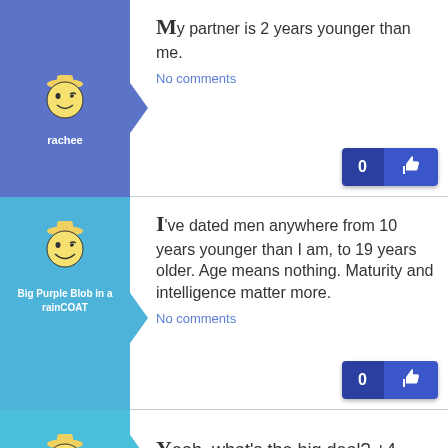[Figure (other): User avatar for rachee - cartoon smiley face with hat on blue background with arrow]
rachee
My partner is 2 years younger than me.
No comments
[Figure (other): User avatar for Big Purple Blob in a rainCOAT - cartoon smiley face with hat on blue background with arrow]
Big Purple Blob in a rainCOAT
I've dated men anywhere from 10 years younger than I am, to 19 years older. Age means nothing. Maturity and intelligence matter more.
No comments
[Figure (other): User avatar (third post) - cartoon smiley face with hat on light blue background with arrow]
Yeah, what's the big deal? +4